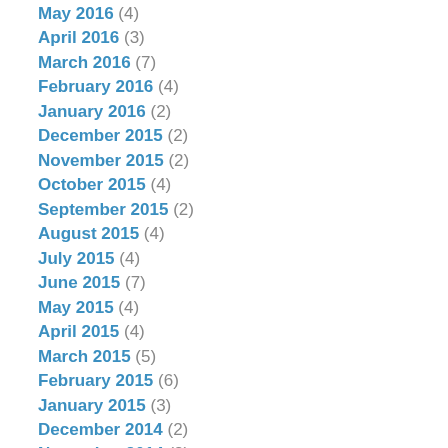May 2016 (4)
April 2016 (3)
March 2016 (7)
February 2016 (4)
January 2016 (2)
December 2015 (2)
November 2015 (2)
October 2015 (4)
September 2015 (2)
August 2015 (4)
July 2015 (4)
June 2015 (7)
May 2015 (4)
April 2015 (4)
March 2015 (5)
February 2015 (6)
January 2015 (3)
December 2014 (2)
November 2014 (8)
October 2014 (8)